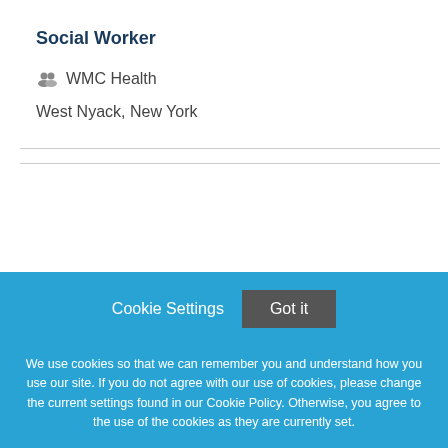Social Worker
WMC Health
West Nyack, New York
[Figure (logo): WMC Health logo with globe graphic, text 'WMCHealth', subtitle 'Westchester Medical Center Health Network', tagline 'Advancing Care. Here.']
Cookie Settings   Got it
We use cookies so that we can remember you and understand how you use our site. If you do not agree with our use of cookies, please change the current settings found in our Cookie Policy. Otherwise, you agree to the use of the cookies as they are currently set.